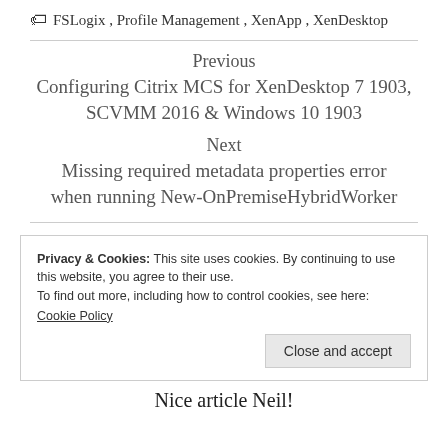FSLogix, Profile Management, XenApp, XenDesktop
Previous
Configuring Citrix MCS for XenDesktop 7 1903, SCVMM 2016 & Windows 10 1903
Next
Missing required metadata properties error when running New-OnPremiseHybridWorker
Privacy & Cookies: This site uses cookies. By continuing to use this website, you agree to their use.
To find out more, including how to control cookies, see here:
Cookie Policy
Close and accept
Nice article Neil!